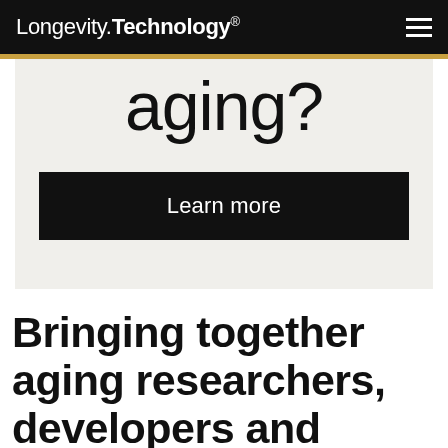Longevity.Technology®
[Figure (screenshot): Partial view of a banner reading 'aging?' with a dark 'Learn more' button below it, on a light beige background]
Bringing together aging researchers, developers and entrepreneurs, the Longevity Hackathon aims to build new tools, raise awareness and attract talent to the field.